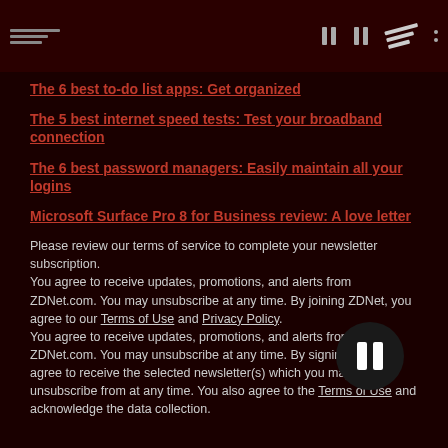ZDNet navigation header with menu icons and logo
The 6 best to-do list apps: Get organized
The 5 best internet speed tests: Test your broadband connection
The 6 best password managers: Easily maintain all your logins
Microsoft Surface Pro 8 for Business review: A love letter
Please review our terms of service to complete your newsletter subscription.
You agree to receive updates, promotions, and alerts from ZDNet.com. You may unsubscribe at any time. By joining ZDNet, you agree to our Terms of Use and Privacy Policy.
You agree to receive updates, promotions, and alerts from ZDNet.com. You may unsubscribe at any time. By signing up, you agree to receive the selected newsletter(s) which you may unsubscribe from at any time. You also agree to the Terms of Use and acknowledge the data collection.